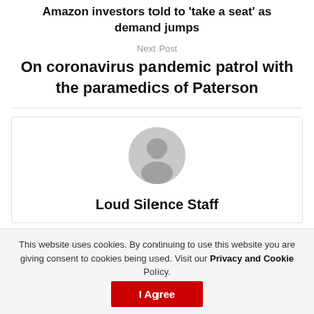Amazon investors told to 'take a seat' as demand jumps
Next Post
On coronavirus pandemic patrol with the paramedics of Paterson
[Figure (illustration): Generic user avatar icon — grey circle with silhouette of a person (head and shoulders)]
Loud Silence Staff
This website uses cookies. By continuing to use this website you are giving consent to cookies being used. Visit our Privacy and Cookie Policy.